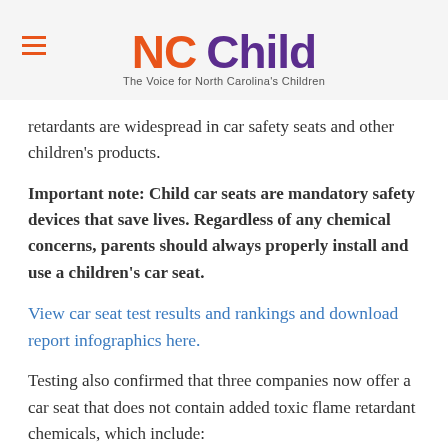NC Child — The Voice for North Carolina's Children
retardants are widespread in car safety seats and other children's products.
Important note: Child car seats are mandatory safety devices that save lives. Regardless of any chemical concerns, parents should always properly install and use a children's car seat.
View car seat test results and rankings and download report infographics here.
Testing also confirmed that three companies now offer a car seat that does not contain added toxic flame retardant chemicals, which include: